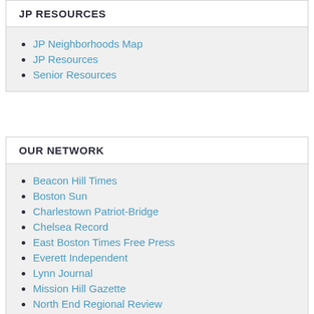JP RESOURCES
JP Neighborhoods Map
JP Resources
Senior Resources
OUR NETWORK
Beacon Hill Times
Boston Sun
Charlestown Patriot-Bridge
Chelsea Record
East Boston Times Free Press
Everett Independent
Lynn Journal
Mission Hill Gazette
North End Regional Review
Revere Journal